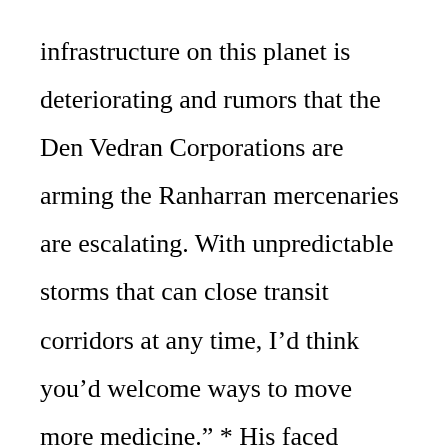infrastructure on this planet is deteriorating and rumors that the Den Vedran Corporations are arming the Ranharran mercenaries are escalating. With unpredictable storms that can close transit corridors at any time, I’d think you’d welcome ways to move more medicine.” * His faced blanched at one point through her tirade, but was now back to its normal